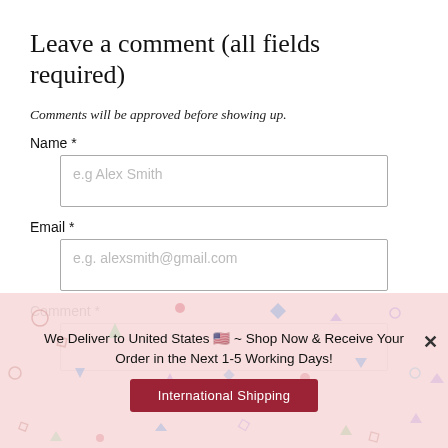Leave a comment (all fields required)
Comments will be approved before showing up.
Name *
e.g Alex Smith
Email *
e.g. alexsmith@gmail.com
Comment *
We Deliver to United States 🇺🇸 ~ Shop Now & Receive Your Order in the Next 1-5 Working Days!
International Shipping